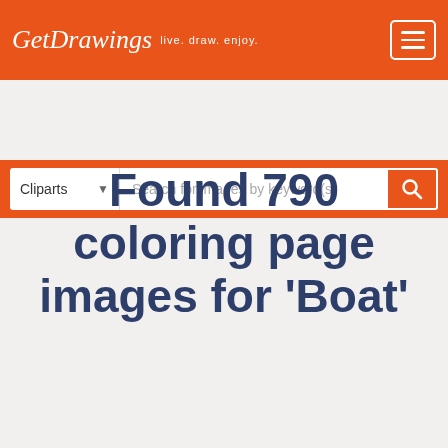GetDrawings live. draw. enjoy.
Cliparts  Search for images by keyword(s)
Found 790 coloring page images for 'Boat'